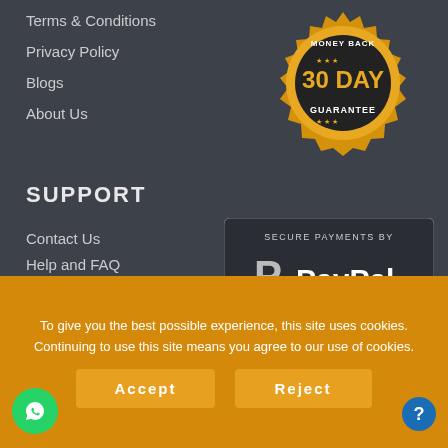Terms & Conditions
Privacy Policy
Blogs
About Us
[Figure (illustration): 30 Day Money Back Guarantee badge — gold medallion with black center]
SUPPORT
Contact Us
Help and FAQ
[Figure (infographic): Secure Payments by PayPal panel showing PayPal logo, Mastercard, Visa, Discover, Amex logos, and text 'NO PAYPAL ACCOUNT NEEDED!']
[Figure (logo): SecureTrust Trusted Commerce Click to Validate badge]
To give you the best possible experience, this site uses cookies. Continuing to use this site means you agree to our use of cookies.
Accept
Reject